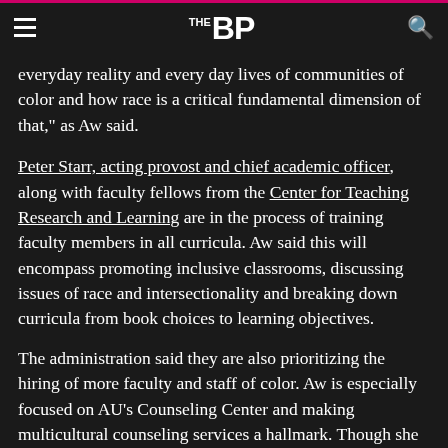THE BP
everyday reality and every day lives of communities of color and how race is a critical fundamental dimension of that," as Aw said.
Peter Starr, acting provost and chief academic officer, along with faculty fellows from the Center for Teaching Research and Learning are in the process of training faculty members in all curricula. Aw said this will encompass promoting inclusive classrooms, discussing issues of race and intersectionality and breaking down curricula from book choices to learning objectives.
The administration said they are also prioritizing the hiring of more faculty and staff of color. Aw is especially focused on AU's Counseling Center and making multicultural counseling services a hallmark. Though she says she is